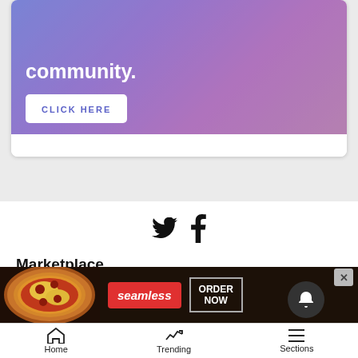[Figure (screenshot): Promotional banner with blue-to-purple gradient background, large white bold text 'community.' and a white CLICK HERE button]
[Figure (infographic): Social media icons: Twitter bird and Facebook F icons centered on white background]
Marketplace
Jobs
Legals
Classifieds
Place Legal Ad
Autos
Real Estate
Rentals
[Figure (screenshot): Seamless food delivery advertisement banner with pizza image, red Seamless logo button, and ORDER NOW button]
Home   Trending   Sections